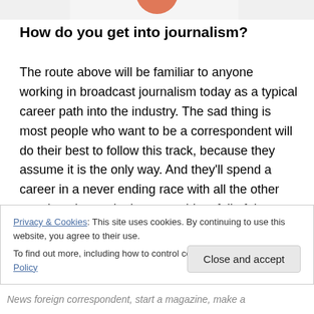[Figure (illustration): Partial top strip showing a cropped illustration with an orange/salmon circular element, likely a profile image or graphic element at the top of the page.]
How do you get into journalism?
The route above will be familiar to anyone working in broadcast journalism today as a typical career path into the industry. The sad thing is most people who want to be a correspondent will do their best to follow this track, because they assume it is the only way. And they'll spend a career in a never ending race with all the other people trying to do the same thing, full of the stress, envy and critical comparison that comes with it.
Privacy & Cookies: This site uses cookies. By continuing to use this website, you agree to their use.
To find out more, including how to control cookies, see here: Cookie Policy
News foreign correspondent, start a magazine, make a